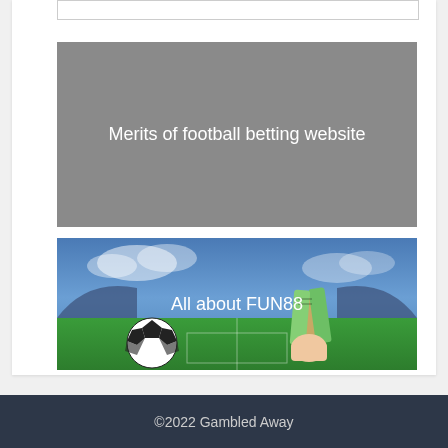[Figure (other): Gray placeholder image block with text 'Merits of football betting website' centered in white]
Merits of football betting website
[Figure (photo): Football stadium scene with a hand holding dollar bills and a soccer ball in the foreground, with text 'All about FUN88' overlaid]
All about FUN88
©2022 Gambled Away